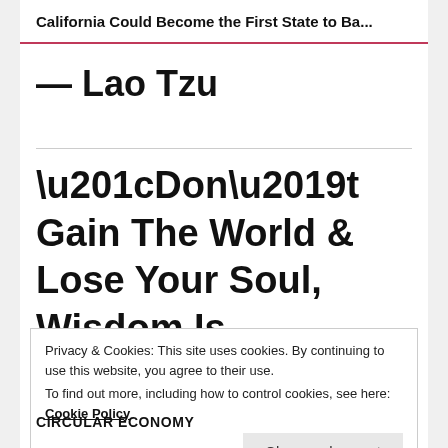California Could Become the First State to Ba...
— Lao Tzu
“Don’t Gain The World & Lose Your Soul, Wisdom Is
Privacy & Cookies: This site uses cookies. By continuing to use this website, you agree to their use.
To find out more, including how to control cookies, see here: Cookie Policy
Close and accept
CIRCULAR ECONOMY